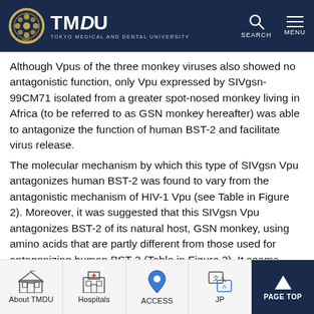TMDU — Tokyo Medical and Dental University
Although Vpus of the three monkey viruses also showed no antagonistic function, only Vpu expressed by SIVgsn-99CM71 isolated from a greater spot-nosed monkey living in Africa (to be referred to as GSN monkey hereafter) was able to antagonize the function of human BST-2 and facilitate virus release.
The molecular mechanism by which this type of SIVgsn Vpu antagonizes human BST-2 was found to vary from the antagonistic mechanism of HIV-1 Vpu (see Table in Figure 2). Moreover, it was suggested that this SIVgsn Vpu antagonizes BST-2 of its natural host, GSN monkey, using amino acids that are partly different from those used for antagonizing human BST-2 (Table in Figure 2). It seems likely that GSN BST-2 and human BST-2 are antagonized through different molecular mechanisms.
About TMDU | Hospitals | ACCESS | JP | PAGE TOP